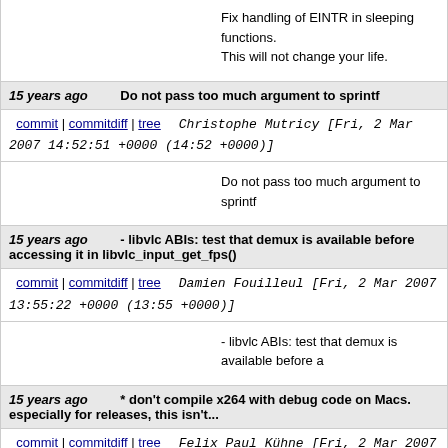Fix handling of EINTR in sleeping functions. This will not change your life.
15 years ago   Do not pass too much argument to sprintf
commit | commitdiff | tree   Christophe Mutricy [Fri, 2 Mar 2007 14:52:51 +0000 (14:52 +0000)]
Do not pass too much argument to sprintf
15 years ago   - libvlc ABIs: test that demux is available before accessing it in libvlc_input_get_fps()
commit | commitdiff | tree   Damien Fouilleul [Fri, 2 Mar 2007 13:55:22 +0000 (13:55 +0000)]
- libvlc ABIs: test that demux is available before a
15 years ago   * don't compile x264 with debug code on Macs. especially for releases, this isn't...
commit | commitdiff | tree   Felix Paul Kühne [Fri, 2 Mar 2007 13:17:58 +0000 (13:17 +0000)]
* don't compile x264 with debug code on Macs. es